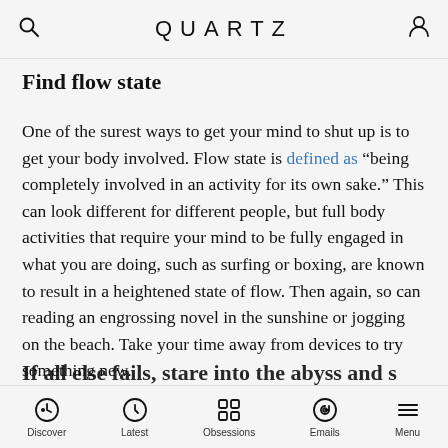QUARTZ
Find flow state
One of the surest ways to get your mind to shut up is to get your body involved. Flow state is defined as “being completely involved in an activity for its own sake.” This can look different for different people, but full body activities that require your mind to be fully engaged in what you are doing, such as surfing or boxing, are known to result in a heightened state of flow. Then again, so can reading an engrossing novel in the sunshine or jogging on the beach. Take your time away from devices to try something new.
If all else fails, stare into the abyss and s
Discover  Latest  Obsessions  Emails  Menu